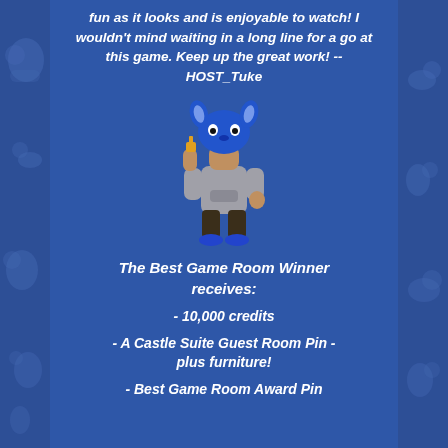fun as it looks and is enjoyable to watch! I wouldn't mind waiting in a long line for a go at this game. Keep up the great work! -- HOST_Tuke
[Figure (illustration): A pixel-art style video game character avatar wearing a blue Stitch costume head, grey hoodie, dark pants, and blue shoes, waving one hand]
The Best Game Room Winner receives:
- 10,000 credits
- A Castle Suite Guest Room Pin - plus furniture!
- Best Game Room Award Pin